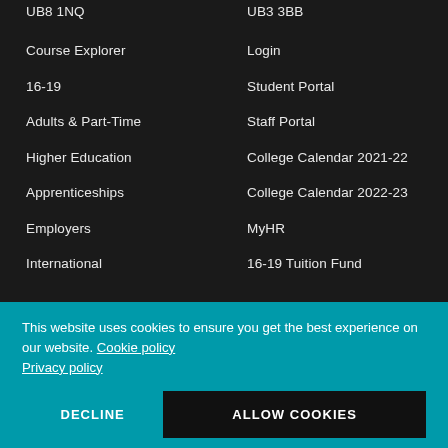UB8 1NQ
UB3 3BB
Course Explorer
Login
16-19
Student Portal
Adults & Part-Time
Staff Portal
Higher Education
College Calendar 2021-22
Apprenticeships
College Calendar 2022-23
Employers
MyHR
International
16-19 Tuition Fund
This website uses cookies to ensure you get the best experience on our website. Cookie policy Privacy policy
DECLINE
ALLOW COOKIES